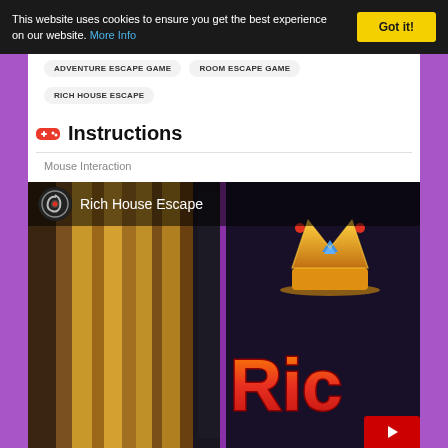This website uses cookies to ensure you get the best experience on our website. More Info
Got it!
ADVENTURE ESCAPE GAME
ROOM ESCAPE GAME
RICH HOUSE ESCAPE
Instructions
Mouse Interaction
[Figure (screenshot): Rich House Escape game video thumbnail showing curtains on the left and a crown logo with 'Ric' text on the right on a dark background, with a channel logo and title overlay at the top]